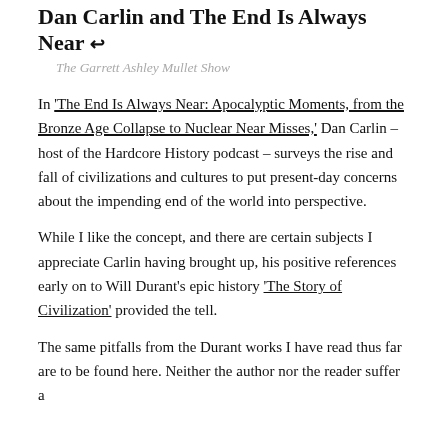Dan Carlin and The End Is Always Near ↩
The Garrett Ashley Mullet Show
In 'The End Is Always Near: Apocalyptic Moments, from the Bronze Age Collapse to Nuclear Near Misses,' Dan Carlin – host of the Hardcore History podcast – surveys the rise and fall of civilizations and cultures to put present-day concerns about the impending end of the world into perspective.
While I like the concept, and there are certain subjects I appreciate Carlin having brought up, his positive references early on to Will Durant's epic history 'The Story of Civilization' provided the tell.
The same pitfalls from the Durant works I have read thus far are to be found here. Neither the author nor the reader suffer a